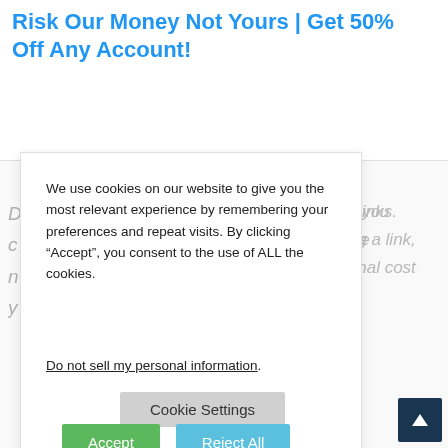Risk Our Money Not Yours | Get 50% Off Any Account!
We use cookies on our website to give you the most relevant experience by remembering your preferences and repeat visits. By clicking “Accept”, you consent to the use of ALL the cookies.
Do not sell my personal information.
Cookie Settings
Accept
Reject All